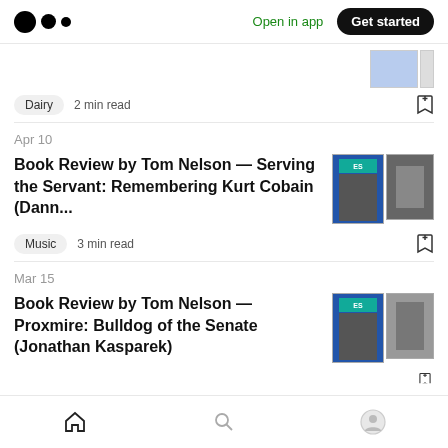Open in app  Get started
Dairy  2 min read
Apr 10
Book Review by Tom Nelson — Serving the Servant: Remembering Kurt Cobain (Dann...
Music  3 min read
Mar 15
Book Review by Tom Nelson — Proxmire: Bulldog of the Senate (Jonathan Kasparek)
Home  Search  Profile